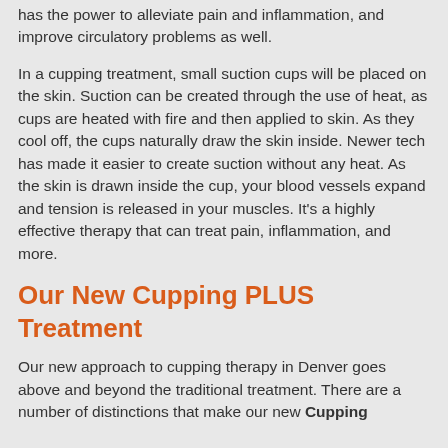has the power to alleviate pain and inflammation, and improve circulatory problems as well.
In a cupping treatment, small suction cups will be placed on the skin. Suction can be created through the use of heat, as cups are heated with fire and then applied to skin. As they cool off, the cups naturally draw the skin inside. Newer tech has made it easier to create suction without any heat. As the skin is drawn inside the cup, your blood vessels expand and tension is released in your muscles. It's a highly effective therapy that can treat pain, inflammation, and more.
Our New Cupping PLUS Treatment
Our new approach to cupping therapy in Denver goes above and beyond the traditional treatment. There are a number of distinctions that make our new Cupping